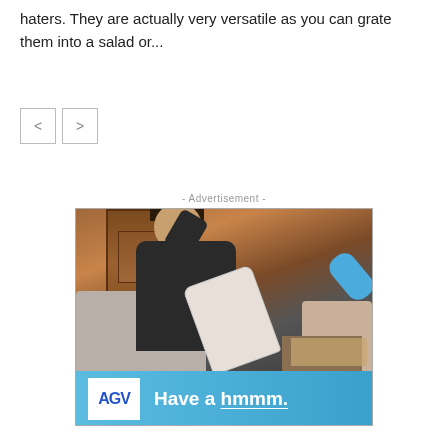haters. They are actually very versatile as you can grate them into a salad or...
[Figure (other): Navigation previous and next arrow buttons]
- Advertisement -
[Figure (photo): Advertisement image showing a man relaxing on a couch with a shoe in foreground, AGV logo and text 'Have a hmmm.']